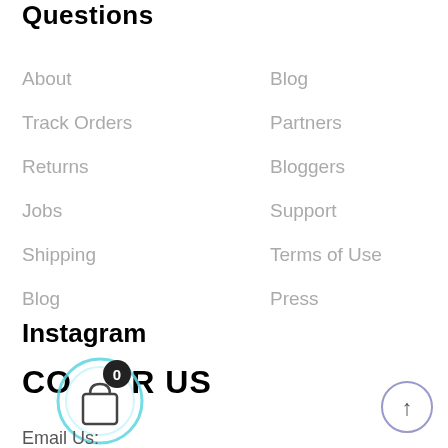Questions
About
Blog
Track Orders
Partners
Returns
Bloggers
Jobs
Support
Shipping
Terms of Use
Blog
Press
Instagram
CONTACT US
Email Us: